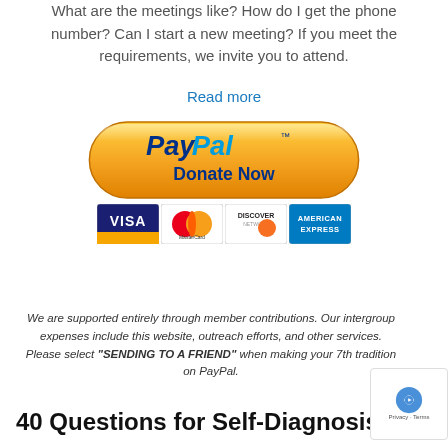What are the meetings like? How do I get the phone number? Can I start a new meeting? If you meet the requirements, we invite you to attend.
Read more
[Figure (logo): PayPal Donate Now button with orange pill-shaped background, showing PayPal logo in blue and dark blue text, with TM mark. Below are four credit card logos: VISA, MasterCard, Discover Network, and American Express.]
We are supported entirely through member contributions. Our intergroup expenses include this website, outreach efforts, and other services. Please select "SENDING TO A FRIEND" when making your 7th tradition on PayPal.
40 Questions for Self-Diagnosis